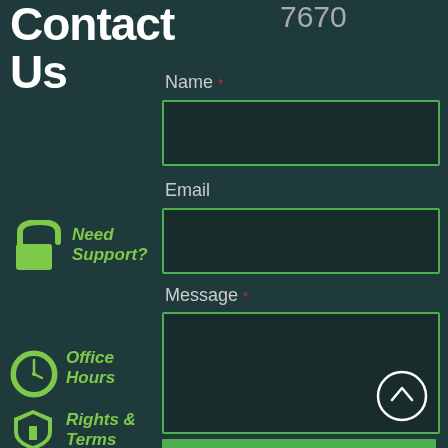Contact Us
7670
Name *
[Figure (screenshot): Empty name input field with green border]
Email
[Figure (screenshot): Empty email input field with green border]
[Figure (illustration): Green lock/unlock icon with text 'Need Support?']
Need Support?
Message *
[Figure (screenshot): Empty message textarea with green border and scroll-up button]
[Figure (illustration): Green clock icon with text 'Office Hours']
Office Hours
[Figure (illustration): Green shield icon with text 'Rights & Terms']
Rights & Terms